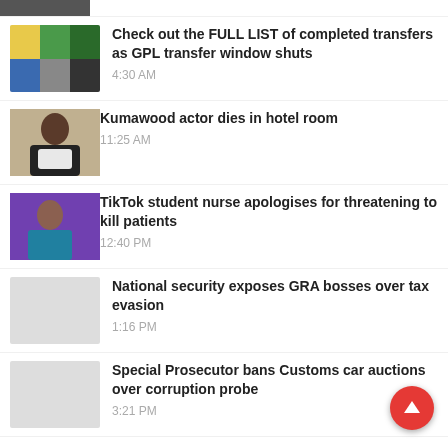Check out the FULL LIST of completed transfers as GPL transfer window shuts | 4:30 AM
Kumawood actor dies in hotel room | 11:25 AM
TikTok student nurse apologises for threatening to kill patients | 12:40 PM
National security exposes GRA bosses over tax evasion | 1:16 PM
Special Prosecutor bans Customs car auctions over corruption probe | 3:21 PM